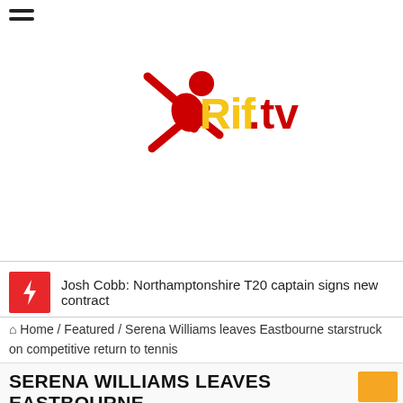[Figure (logo): Rif.tv logo with red figure and yellow/red text]
Josh Cobb: Northamptonshire T20 captain signs new contract
Home / Featured / Serena Williams leaves Eastbourne starstruck on competitive return to tennis
SERENA WILLIAMS LEAVES EASTBOURNE